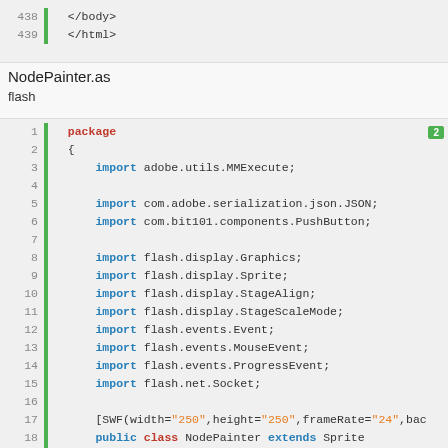[Figure (screenshot): Code snippet showing HTML closing tags on lines 438-439 with green left border bar]
NodePainter.as
flash（ActionScript）
[Figure (screenshot): ActionScript code block for NodePainter class, lines 1-19, showing package declaration, imports, and class definition]